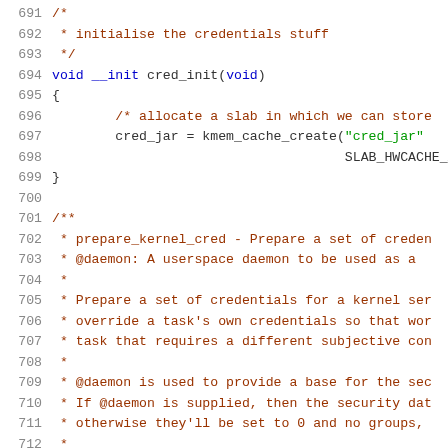Source code listing, lines 691-712, showing C kernel code for cred_init function and prepare_kernel_cred documentation comment.